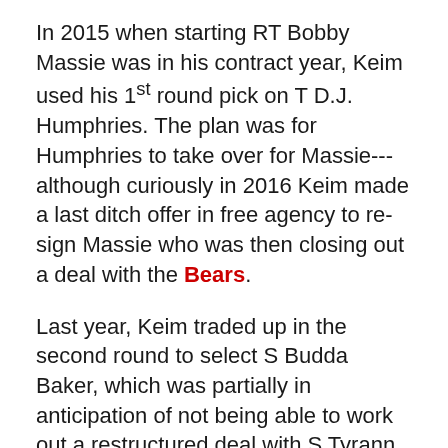In 2015 when starting RT Bobby Massie was in his contract year, Keim used his 1st round pick on T D.J. Humphries. The plan was for Humphries to take over for Massie---although curiously in 2016 Keim made a last ditch offer in free agency to re-sign Massie who was then closing out a deal with the Bears.
Last year, Keim traded up in the second round to select S Budda Baker, which was partially in anticipation of not being able to work out a restructured deal with S Tyrann Mathieu. Keim did offer Mathieu an $8M a year contract to stay, but as we know, Mathieu declined and is now a Texan.
This year heading into the draft the Cardinals have 11 key players heading into contract years:
QB Sam Bradford (2018 Cap Hit: $10.6+ game...